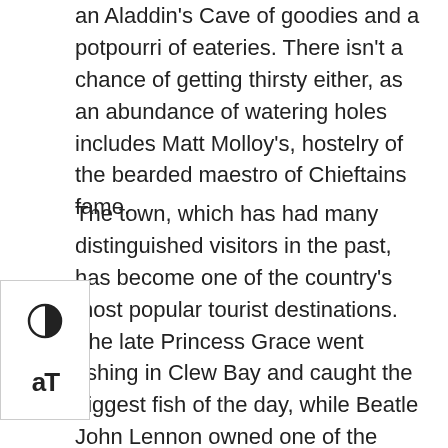an Aladdin's Cave of goodies and a potpourri of eateries. There isn't a chance of getting thirsty either, as an abundance of watering holes includes Matt Molloy's, hostelry of the bearded maestro of Chieftains fame.
The town, which has had many distinguished visitors in the past, has become one of the country's most popular tourist destinations. The late Princess Grace went fishing in Clew Bay and caught the biggest fish of the day, while Beatle John Lennon owned one of the islands and was planning to build a retirement home there shortly before his premature death.